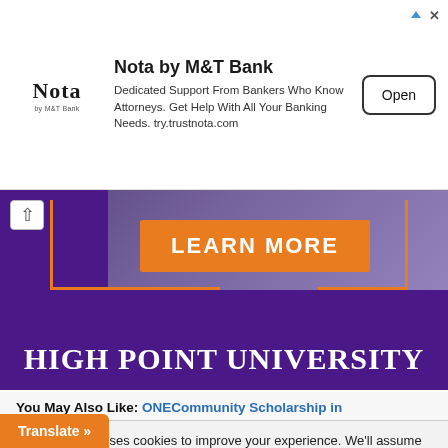[Figure (screenshot): Nota by M&T Bank advertisement banner with logo, text 'Dedicated Support From Bankers Who Know Attorneys. Get Help With All Your Banking Needs. try.trustnota.com', and Open button]
[Figure (screenshot): High Point University promotional banner with orange LEARN MORE button over purple background with university name in white serif font]
You May Also Like: ONECommunity Scholarship in
This website uses cookies to improve your experience. We'll assume you're ok with this, but you can opt-out if you wish.
Read More
Translate »